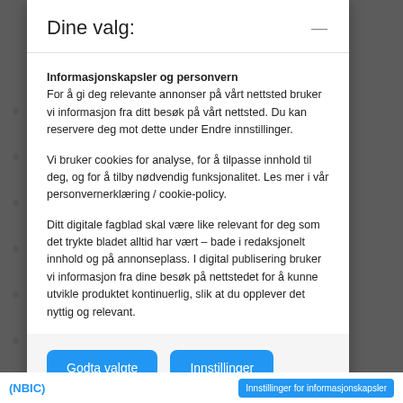Dine valg:
Informasjonskapsler og personvern
For å gi deg relevante annonser på vårt nettsted bruker vi informasjon fra ditt besøk på vårt nettsted. Du kan reservere deg mot dette under Endre innstillinger.
Vi bruker cookies for analyse, for å tilpasse innhold til deg, og for å tilby nødvendig funksjonalitet. Les mer i vår personvernerklæring / cookie-policy.
Ditt digitale fagblad skal være like relevant for deg som det trykte bladet alltid har vært – bade i redaksjonelt innhold og på annonseplass. I digital publisering bruker vi informasjon fra dine besøk på nettstedet for å kunne utvikle produktet kontinuerlig, slik at du opplever det nyttig og relevant.
Godta valgte
Innstillinger
(NBIC)   Innstillinger for informasjonskapsler